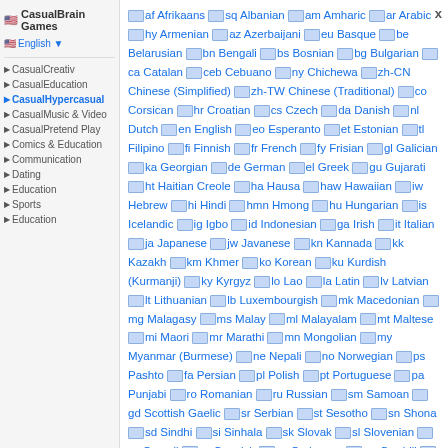🇺🇸 English ▼   CasualBrain Games
CasualCreativ · CasualEducation · CasualHypercasual · CasualMusic & Video · CasualPretend Play · Comics & Education · Communication · Dating · Education · Sports · Education
af Afrikaans, sq Albanian, am Amharic, ar Arabic, hy Armenian, az Azerbaijani, eu Basque, be Belarusian, bn Bengali, bs Bosnian, bg Bulgarian, ca Catalan, ceb Cebuano, ny Chichewa, zh-CN Chinese (Simplified), zh-TW Chinese (Traditional), co Corsican, hr Croatian, cs Czech, da Danish, nl Dutch, en English, eo Esperanto, et Estonian, tl Filipino, fi Finnish, fr French, fy Frisian, gl Galician, ka Georgian, de German, el Greek, gu Gujarati, ht Haitian Creole, ha Hausa, haw Hawaiian, iw Hebrew, hi Hindi, hmn Hmong, hu Hungarian, is Icelandic, ig Igbo, id Indonesian, ga Irish, it Italian, ja Japanese, jw Javanese, kn Kannada, kk Kazakh, km Khmer, ko Korean, ku Kurdish (Kurmanji), ky Kyrgyz, lo Lao, la Latin, lv Latvian, lt Lithuanian, lb Luxembourgish, mk Macedonian, mg Malagasy, ms Malay, ml Malayalam, mt Maltese, mi Maori, mr Marathi, mn Mongolian, my Myanmar (Burmese), ne Nepali, no Norwegian, ps Pashto, fa Persian, pl Polish, pt Portuguese, pa Punjabi, ro Romanian, ru Russian, sm Samoan, gd Scottish Gaelic, sr Serbian, st Sesotho, sn Shona, sd Sindhi, si Sinhala, sk Slovak, sl Slovenian, so Somali, es Spanish, su Sudanese, sw Swahili, tl Tagalog, tg Tajik, ta Tamil, te Telugu, th Thai, tr Turkish